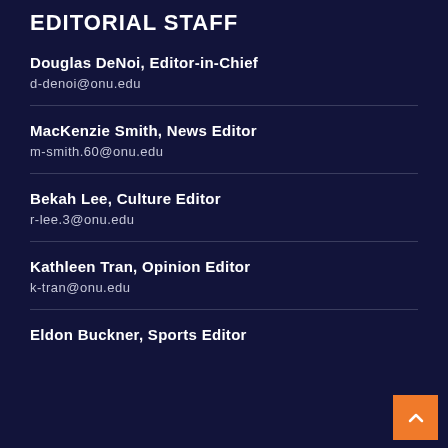EDITORIAL STAFF
Douglas DeNoi, Editor-in-Chief
d-denoi@onu.edu
MacKenzie Smith, News Editor
m-smith.60@onu.edu
Bekah Lee, Culture Editor
r-lee.3@onu.edu
Kathleen Tran, Opinion Editor
k-tran@onu.edu
Eldon Buckner, Sports Editor